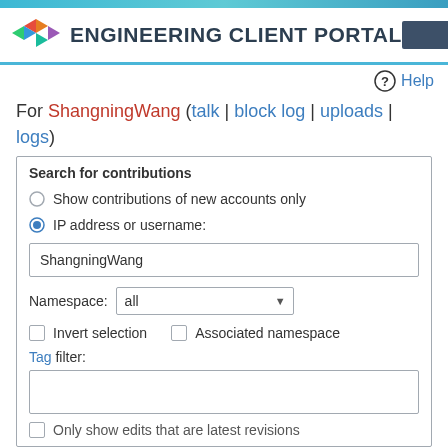ENGINEERING CLIENT PORTAL
Help
For ShangningWang (talk | block log | uploads | logs)
Search for contributions
Show contributions of new accounts only
IP address or username:
ShangningWang
Namespace: all
Invert selection   Associated namespace
Tag filter:
Only show edits that are latest revisions